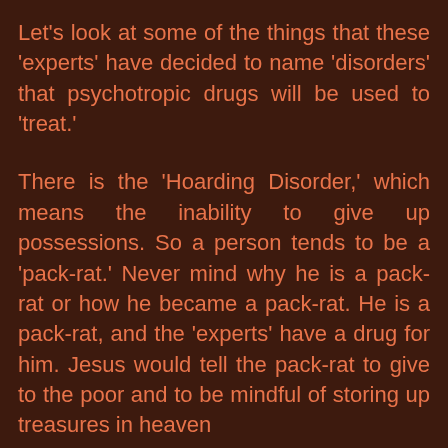Let's look at some of the things that these 'experts' have decided to name 'disorders' that psychotropic drugs will be used to 'treat.'
There is the 'Hoarding Disorder,' which means the inability to give up possessions. So a person tends to be a 'pack-rat.' Never mind why he is a pack-rat or how he became a pack-rat. He is a pack-rat, and the 'experts' have a drug for him. Jesus would tell the pack-rat to give to the poor and to be mindful of storing up treasures in heaven